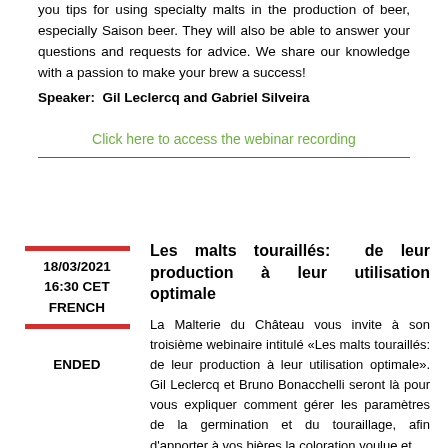you tips for using specialty malts in the production of beer, especially Saison beer. They will also be able to answer your questions and requests for advice. We share our knowledge with a passion to make your brew a success!
Speaker:  Gil Leclercq and Gabriel Silveira
Click here to access the webinar recording
18/03/2021
16:30 CET
FRENCH
ENDED
Les malts touraillés: de leur production à leur utilisation optimale
La Malterie du Château vous invite à son troisième webinaire intitulé «Les malts touraillés: de leur production à leur utilisation optimale». Gil Leclercq et Bruno Bonacchelli seront là pour vous expliquer comment gérer les paramètres de la germination et du touraillage, afin d'apporter à vos bières la coloration voulue et